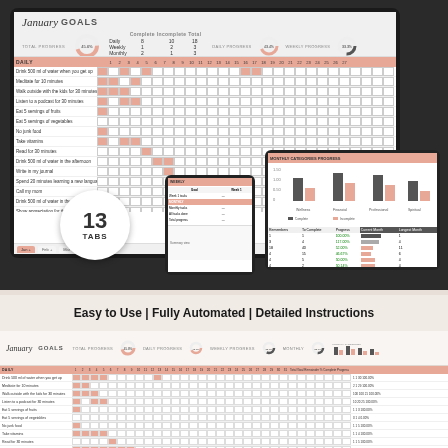[Figure (screenshot): Laptop screen showing January Goals spreadsheet with daily habit tracker, donut charts for total/daily/weekly/monthly progress, and a grid of checkboxes for daily habits. A tablet shows monthly categories progress bar chart. A phone shows a weekly view. A badge reads '13 TABS'.]
Easy to Use | Fully Automated | Detailed Instructions
[Figure (screenshot): January Goals spreadsheet shown flat/expanded with full daily habit tracker grid, donut charts for Total Progress, Daily Progress, Weekly Progress, Monthly Progress, and Monthly Categories Progress bar chart, plus detailed rows with checkboxes and summary columns.]